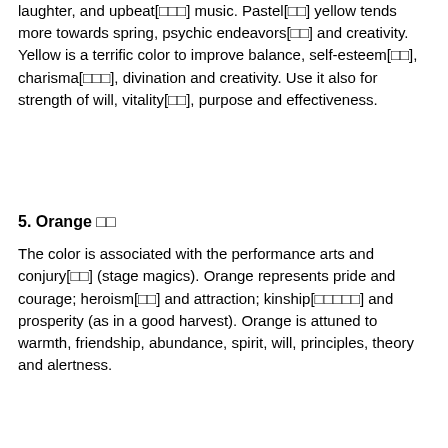laughter, and upbeat[ロロロ] music. Pastel[ロロ] yellow tends more towards spring, psychic endeavors[ロロ] and creativity. Yellow is a terrific color to improve balance, self-esteem[ロロ], charisma[ロロロ], divination and creativity. Use it also for strength of will, vitality[ロロ], purpose and effectiveness.
[CJK text block - three lines of Japanese/Chinese characters]
5. Orange ロロ
The color is associated with the performance arts and conjury[ロロ] (stage magics). Orange represents pride and courage; heroism[ロロ] and attraction; kinship[ロロロロロ] and prosperity (as in a good harvest). Orange is attuned to warmth, friendship, abundance, spirit, will, principles, theory and alertness.